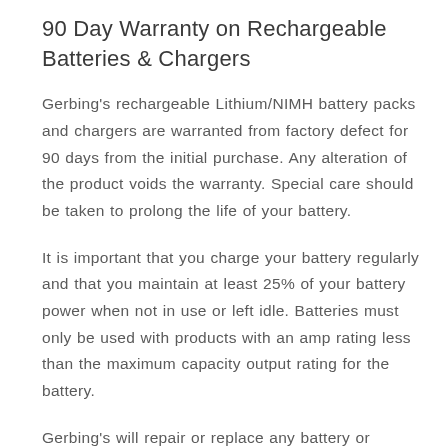90 Day Warranty on Rechargeable Batteries & Chargers
Gerbing's rechargeable Lithium/NIMH battery packs and chargers are warranted from factory defect for 90 days from the initial purchase. Any alteration of the product voids the warranty. Special care should be taken to prolong the life of your battery.
It is important that you charge your battery regularly and that you maintain at least 25% of your battery power when not in use or left idle. Batteries must only be used with products with an amp rating less than the maximum capacity output rating for the battery.
Gerbing's will repair or replace any battery or charger